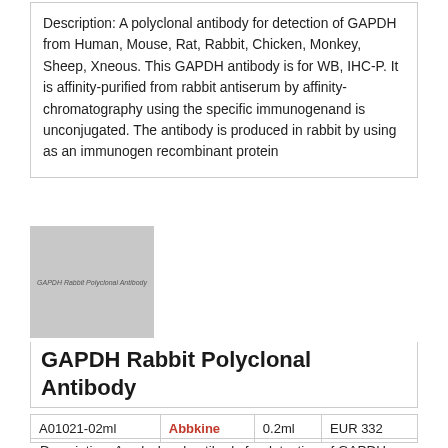Description: A polyclonal antibody for detection of GAPDH from Human, Mouse, Rat, Rabbit, Chicken, Monkey, Sheep, Xneous. This GAPDH antibody is for WB, IHC-P. It is affinity-purified from rabbit antiserum by affinity-chromatography using the specific immunogenand is unconjugated. The antibody is produced in rabbit by using as an immunogen recombinant protein
[Figure (photo): Gray placeholder image for GAPDH Rabbit Polyclonal Antibody product with watermark text 'GAPDH Rabbit Polyclonal Antibody']
GAPDH Rabbit Polyclonal Antibody
| A01021-02ml | Abbkine | 0.2ml | EUR 332 |
Description: A polyclonal antibody for detection of GAPDH...